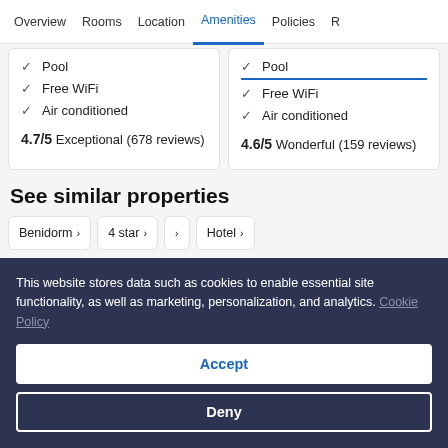Overview   Rooms   Location   Amenities   Policies   R
Pool
Free WiFi
Air conditioned
4.7/5 Exceptional (678 reviews)
Pool
Free WiFi
Air conditioned
4.6/5 Wonderful (159 reviews)
See similar properties
Benidorm →
4 star →
→
Hotel →
This website stores data such as cookies to enable essential site functionality, as well as marketing, personalization, and analytics. Cookie Policy
Accept
Deny